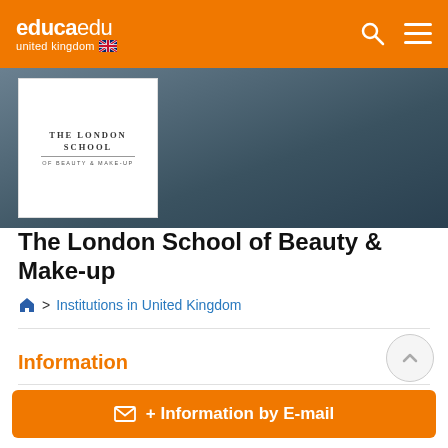educaedu united kingdom
[Figure (logo): The London School of Beauty & Make-up logo — white box with serif text]
The London School of Beauty & Make-up
> Institutions in United Kingdom
Information
+ Information by E-mail